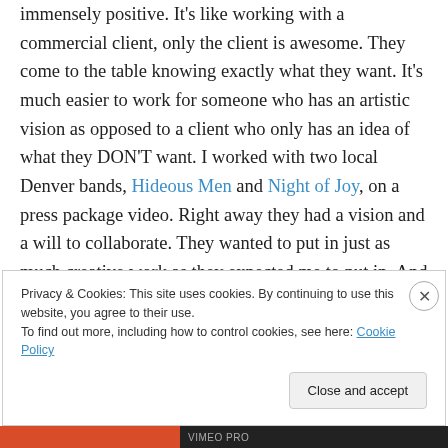immensely positive. It's like working with a commercial client, only the client is awesome. They come to the table knowing exactly what they want. It's much easier to work for someone who has an artistic vision as opposed to a client who only has an idea of what they DON'T want. I worked with two local Denver bands, Hideous Men and Night of Joy, on a press package video. Right away they had a vision and a will to collaborate. They wanted to put in just as much creative work as they expected me to put in. And when you work for artists you usually get to do something pretty outrageous. You gotta love clients who
Privacy & Cookies: This site uses cookies. By continuing to use this website, you agree to their use.
To find out more, including how to control cookies, see here: Cookie Policy
Close and accept